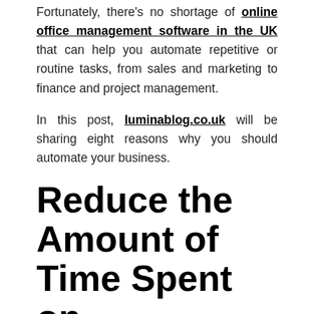Fortunately, there's no shortage of online office management software in the UK that can help you automate repetitive or routine tasks, from sales and marketing to finance and project management.
In this post, luminablog.co.uk will be sharing eight reasons why you should automate your business.
Reduce the Amount of Time Spent on Administrative Tasks